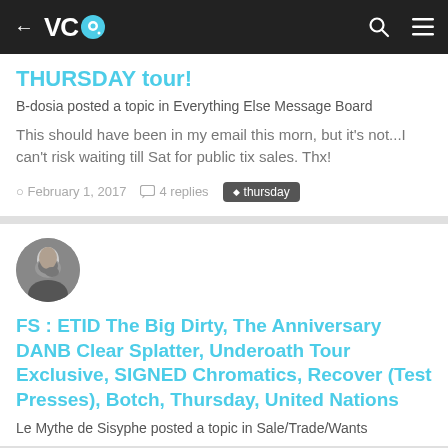VC [logo] — navigation bar with back arrow, search, and menu icons
THURSDAY tour!
B-dosia posted a topic in Everything Else Message Board
This should have been in my email this morn, but it's not...I can't risk waiting till Sat for public tix sales. Thx!
February 1, 2017  4 replies  thursday
[Figure (photo): Circular avatar photo of a bearded man in profile]
FS : ETID The Big Dirty, The Anniversary DANB Clear Splatter, Underoath Tour Exclusive, SIGNED Chromatics, Recover (Test Presses), Botch, Thursday, United Nations
Le Mythe de Sisyphe posted a topic in Sale/Trade/Wants